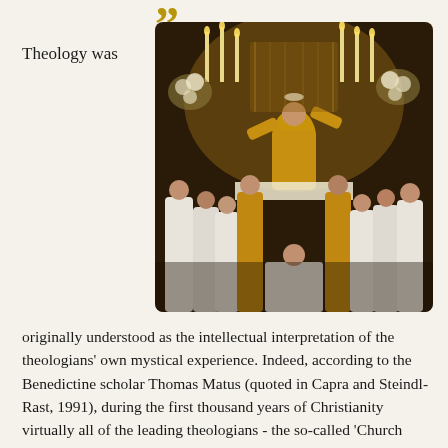”
Theology was
[Figure (photo): A Catholic priest in ornate golden vestments elevating the host at the altar during Mass, surrounded by altar servers and clergy in white robes, with candles and floral arrangements in the background of an ornate church.]
originally understood as the intellectual interpretation of the theologians’ own mystical experience. Indeed, according to the Benedictine scholar Thomas Matus (quoted in Capra and Steindl-Rast, 1991), during the first thousand years of Christianity virtually all of the leading theologians - the so-called ‘Church Fathers’ - were also mystics. Over the subsequent centuries, however, during the scholastic period, theology became progressively fragmented and divorced from the spiritual experience that was originally at its core.